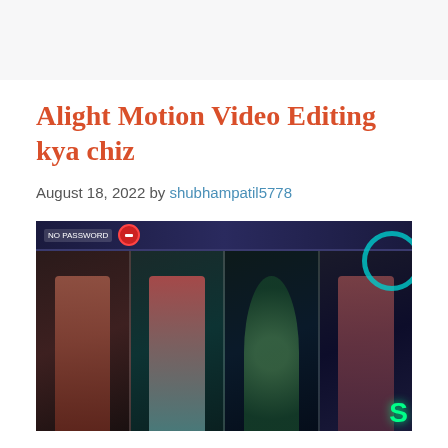Alight Motion Video Editing kya chiz
August 18, 2022 by shubhampatil5778
[Figure (photo): Composite image showing four portrait-style edited photos of women in traditional Indian attire, with a dark cinematic background. Top banner reads 'NO PASSWORD' with a red circle icon. Neon green text visible at the bottom right.]